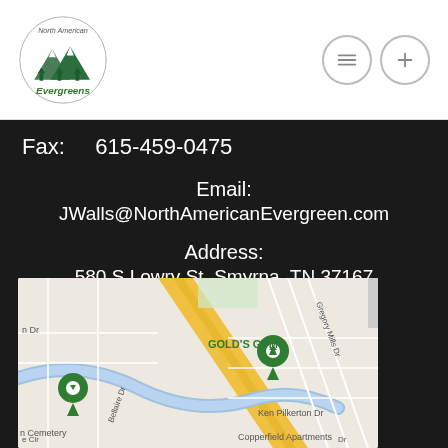[Figure (logo): North American Evergreens logo with mountain and tree imagery in green and white]
Fax:  615-459-0475
Email:
JWalls@NorthAmericanEvergreen.com
Address:
580 S Lowry St, Smyrna, TN 37167
[Figure (map): Google Maps screenshot showing area near 580 S Lowry St, Smyrna, TN 37167 with Gold's Gym marker and Copperfield Apartments visible]